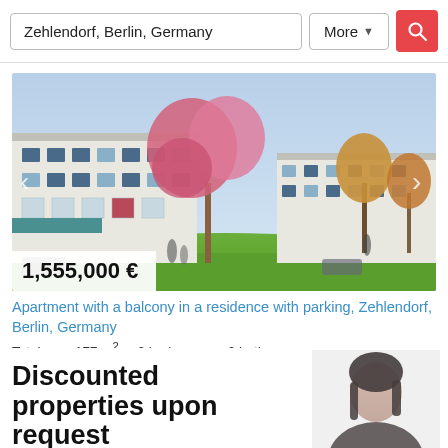Zehlendorf, Berlin, Germany
More
[Figure (photo): Exterior rendering of a modern residential apartment building with balconies, surrounded by cherry blossom trees and green landscape]
1,555,000 €
Apartment with a balcony in a residence with parking, Zehlendorf, Berlin, Germany
Total area 177 m² · 2 bedrooms · 2 bathrooms
Discounted properties upon request